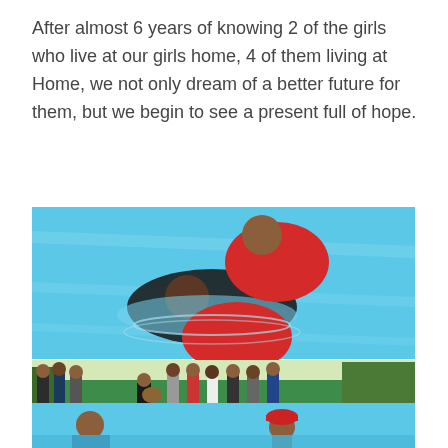After almost 6 years of knowing 2 of the girls who live at our girls home, 4 of them living at Home, we not only dream of a better future for them, but we begin to see a present full of hope.
[Figure (photo): Aerial view of a baptism taking place in a swimming pool — a person in a red shirt is baptizing another person in dark clothing in blue water. Below that is a photo of a group of people gathered outdoors near a pool, with someone playing guitar, people standing and sitting watching. At the bottom is another partial photo showing people near a pool with one person wearing a red baseball cap.]